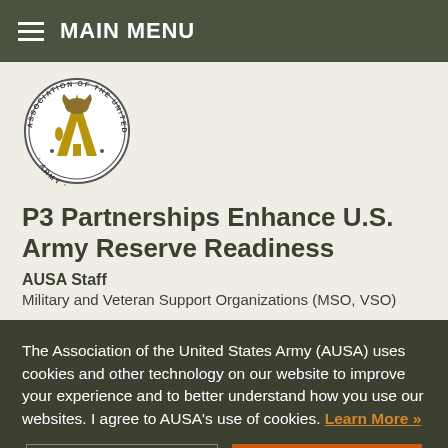MAIN MENU
[Figure (logo): Association of the United States Army (AUSA) circular seal logo with eagle and text]
P3 Partnerships Enhance U.S. Army Reserve Readiness
AUSA Staff
Military and Veteran Support Organizations (MSO, VSO)
The Association of the United States Army (AUSA) uses cookies and other technology on our website to improve your experience and to better understand how you use our websites. I agree to AUSA's use of cookies. Learn More »
Decline
I Accept